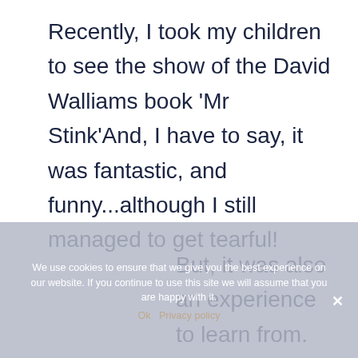Recently, I took my children to see the show of the David Walliams book 'Mr Stink'And, I have to say, it was fantastic, and funny...although I still managed to get tearful!
But, it was also an experience to learn from. For a
We use cookies to ensure that we give you the best experience on our website. If you continue to use this site we will assume that you are happy with it.
Ok   Privacy policy